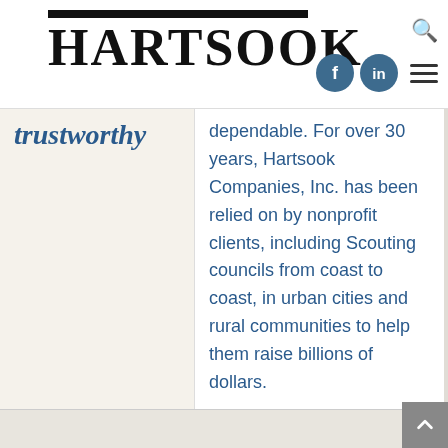HARTSOOK
trustworthy
dependable. For over 30 years, Hartsook Companies, Inc. has been relied on by nonprofit clients, including Scouting councils from coast to coast, in urban cities and rural communities to help them raise billions of dollars.